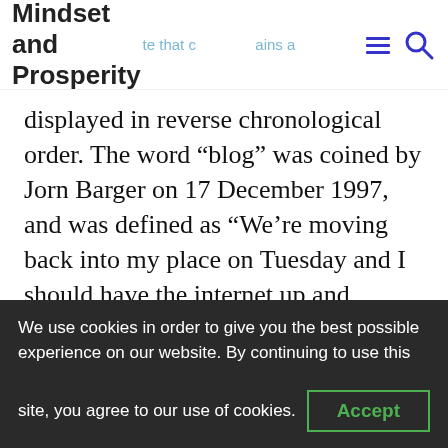Mindset and Prosperity
displayed in reverse chronological order. The word “blog” was coined by Jorn Barger on 17 December 1997, and was defined as “We’re moving back into my place on Tuesday and I should have the internet up and running by then.
The word “weblog” originally referred to the fact that many blogs were maintained by individuals using web log editing software. Consequently, a “weblog” often features the
We use cookies in order to give you the best possible experience on our website. By continuing to use this site, you agree to our use of cookies.